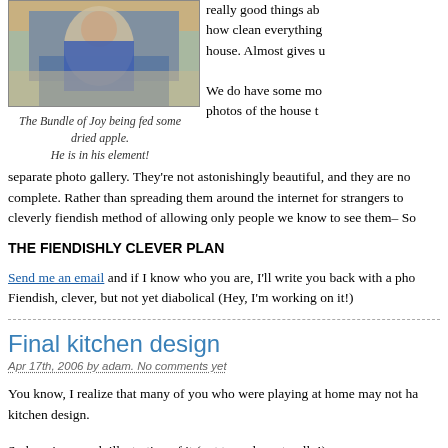[Figure (photo): Photo of a child (Bundle of Joy) being fed dried apple, lying on a floor]
The Bundle of Joy being fed some dried apple. He is in his element!
really good things ab... how clean everything... house. Almost gives u...
We do have some mo... photos of the house t... separate photo gallery. They're not astonishingly beautiful, and they are no... complete. Rather than spreading them around the internet for strangers to... cleverly fiendish method of allowing only people we know to see them– So...
THE FIENDISHLY CLEVER PLAN
Send me an email and if I know who you are, I'll write you back with a pho... Fiendish, clever, but not yet diabolical (Hey, I'm working on it!)
Final kitchen design
Apr 17th, 2006 by adam. No comments yet
You know, I realize that many of you who were playing at home may not ha... kitchen design.
So here is a rough illustration of it (not to scale, naturally!)